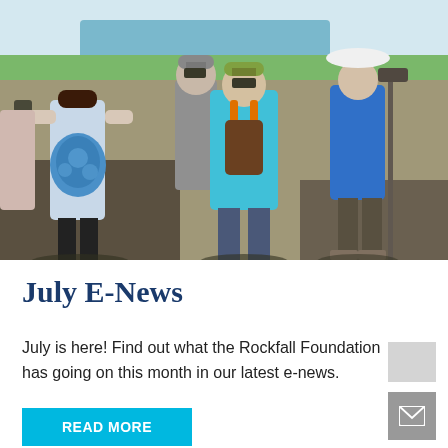[Figure (photo): Group of people (adults and children) standing with their backs to the camera, looking through binoculars at a wetland/river landscape on a sunny day. People are wearing casual outdoor clothing with backpacks.]
July E-News
July is here! Find out what the Rockfall Foundation has going on this month in our latest e-news.
READ MORE